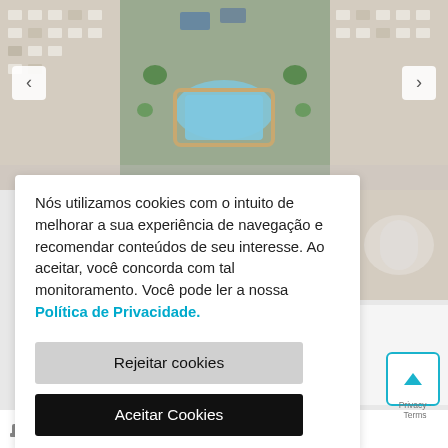[Figure (photo): Aerial view of a residential building complex with swimming pool courtyard, seen from above. Navigation arrows visible on left and right sides of the image carousel.]
Nós utilizamos cookies com o intuito de melhorar a sua experiência de navegação e recomendar conteúdos de seu interesse. Ao aceitar, você concorda com tal monitoramento. Você pode ler a nossa Política de Privacidade.
Rejeitar cookies
Aceitar Cookies
banheiros
vagas
Privacy · Terms